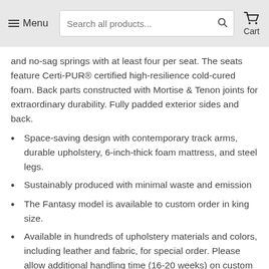Menu   Search all products...   Cart
and no-sag springs with at least four per seat. The seats feature Certi-PUR® certified high-resilience cold-cured foam. Back parts constructed with Mortise & Tenon joints for extraordinary durability. Fully padded exterior sides and back.
Space-saving design with contemporary track arms, durable upholstery, 6-inch-thick foam mattress, and steel legs.
Sustainably produced with minimal waste and emission
The Fantasy model is available to custom order in king size.
Available in hundreds of upholstery materials and colors, including leather and fabric, for special order. Please allow additional handling time (16-20 weeks) on custom orders.
Made in Finland